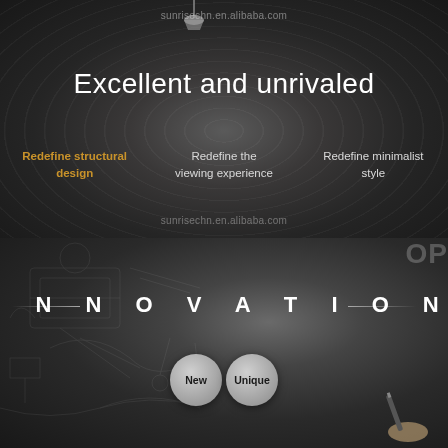[Figure (infographic): Dark metallic radial background with circular concentric ring texture, lamp at top, watermark, main headline, three column taglines, and website watermark at bottom]
sunrisechn.en.alibaba.com
Excellent and unrivaled
Redefine structural design
Redefine the viewing experience
Redefine minimalist style
sunrisechn.en.alibaba.com
[Figure (infographic): Dark background with pencil sketch design drawings, INNOVATION text with decorative lines, two circular buttons labeled New and Unique, hand drawing with pen, and partial TOP label in corner]